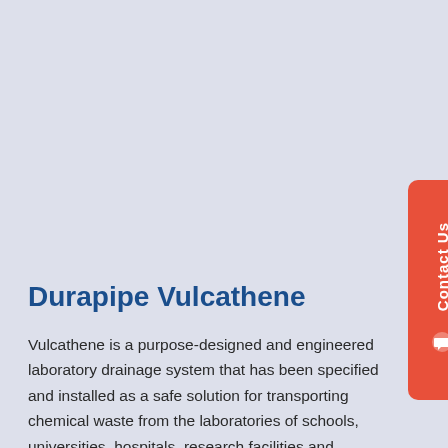Durapipe Vulcathene
Vulcathene is a purpose-designed and engineered laboratory drainage system that has been specified and installed as a safe solution for transporting chemical waste from the laboratories of schools, universities, hospitals, research facilities and industrial environments worldwide for more than 65 years.
BBA approved for laboratory drainage, Vulcathene